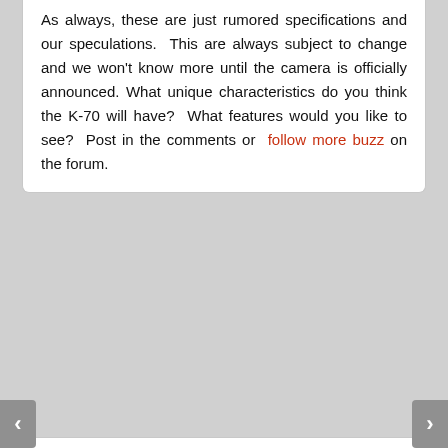As always, these are just rumored specifications and our speculations. This are always subject to change and we won't know more until the camera is officially announced. What unique characteristics do you think the K-70 will have? What features would you like to see? Post in the comments or follow more buzz on the forum.
More News
More Posts in Pentax Rumors
Next Story: 2016 Pentax Forums T-Shirt Contest
Previous: Pentax K-1 In-Depth Review Posted
Tags
aps-c, dslr, k-70, k70, pentax k-70, pentax k70, rumor